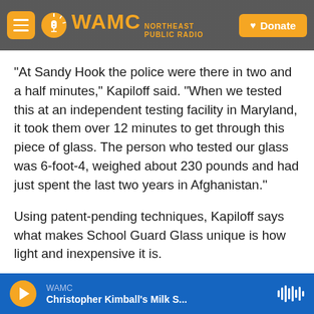WAMC Northeast Public Radio — Donate
“At Sandy Hook the police were there in two and a half minutes,” Kapiloff said. “When we tested this at an independent testing facility in Maryland, it took them over 12 minutes to get through this piece of glass. The person who tested our glass was 6-foot-4, weighed about 230 pounds and had just spent the last two years in Afghanistan.”
Using patent-pending techniques, Kapiloff says what makes School Guard Glass unique is how light and inexpensive it is.
WAMC — Christopher Kimball's Milk S...